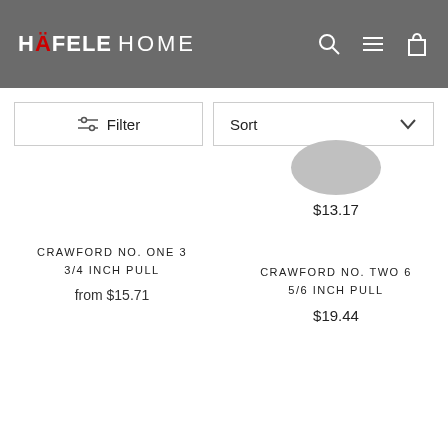HÄFELE HOME
Filter
Sort
$13.17
CRAWFORD NO. ONE 3 3/4 INCH PULL
from $15.71
CRAWFORD NO. TWO 6 5/6 INCH PULL
$19.44